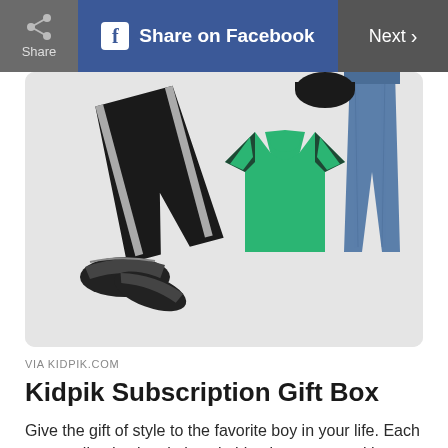Share | Share on Facebook | Next >
[Figure (photo): Children's clothing items laid flat including black jogger pants with white stripes, black and white sneakers, a green t-shirt with black stripe details on sleeves, and blue denim jeans, on a light gray background]
VIA KIDPIK.COM
Kidpik Subscription Gift Box
Give the gift of style to the favorite boy in your life. Each personalized subscription clothing box comes with seven mix-and-match items, including